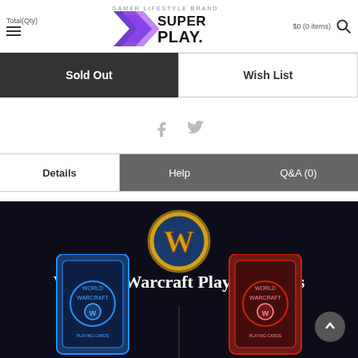Total(Qty) | SUPER PLAY Gamer Lifestyle Brand | $0 (0 items)
Sold Out
Wish List
[Figure (other): Facebook and Twitter social share icons in gray]
Details | Help | Q&A (0)
[Figure (illustration): World of Warcraft Playing Cards promotional banner with WoW logo, title text, and two playing card decks (blue and red) on dark navy background]